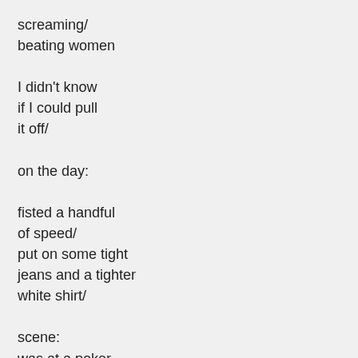screaming/
beating women

I didn't know
if I could pull
it off/

on the day:

fisted a handful
of speed/
put on some tight
jeans and a tighter
white shirt/

scene:
was at a poker
table,

it went like this/
i get wild and the boys